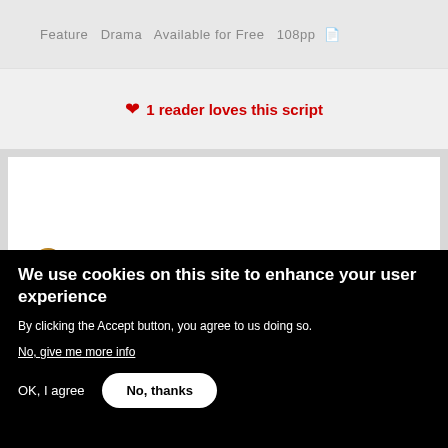Feature  Drama  Available for Free  108pp 📄
❤ 1 reader loves this script
[Figure (illustration): White preview card with a gold/metallic circle button in lower left corner, on a light gray background]
We use cookies on this site to enhance your user experience
By clicking the Accept button, you agree to us doing so.
No, give me more info
OK, I agree
No, thanks